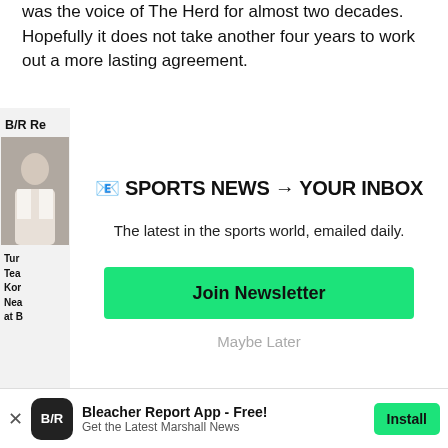was the voice of The Herd for almost two decades. Hopefully it does not take another four years to work out a more lasting agreement.
B/R Re
[Figure (photo): Basketball player photo in sidebar]
Tur Tea Kor Nea at B
[Figure (infographic): Newsletter signup modal with title 'SPORTS NEWS → YOUR INBOX', subtitle 'The latest in the sports world, emailed daily.', Join Newsletter button, and Maybe Later link]
Bleacher Report App - Free!
Get the Latest Marshall News